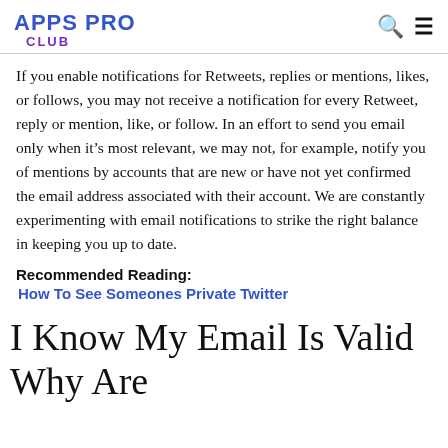APPS PRO CLUB
If you enable notifications for Retweets, replies or mentions, likes, or follows, you may not receive a notification for every Retweet, reply or mention, like, or follow. In an effort to send you email only when it's most relevant, we may not, for example, notify you of mentions by accounts that are new or have not yet confirmed the email address associated with their account. We are constantly experimenting with email notifications to strike the right balance in keeping you up to date.
Recommended Reading:
How To See Someones Private Twitter
I Know My Email Is Valid Why Are